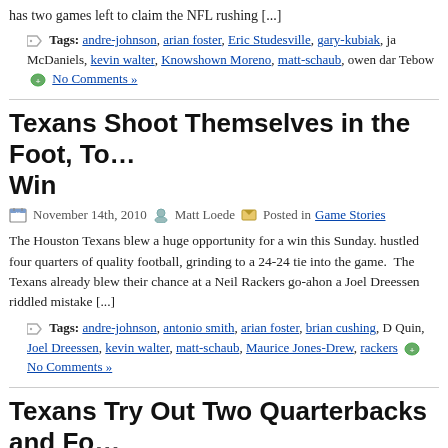has two games left to claim the NFL rushing [...]
Tags: andre-johnson, arian foster, Eric Studesville, gary-kubiak, ja McDaniels, kevin walter, Knowshown Moreno, matt-schaub, owen dar Tebow  No Comments »
Texans Shoot Themselves in the Foot, To... Win
November 14th, 2010  Matt Loede  Posted in Game Stories
The Houston Texans blew a huge opportunity for a win this Sunday. hustled four quarters of quality football, grinding to a 24-24 tie into the game. The Texans already blew their chance at a Neil Rackers go-ah on a Joel Dreessen riddled mistake [...]
Tags: andre-johnson, antonio smith, arian foster, brian cushing, D Quin, Joel Dreessen, kevin walter, matt-schaub, Maurice Jones-Drew, rackers  No Comments »
Texans Try Out Two Quarterbacks and Fo...